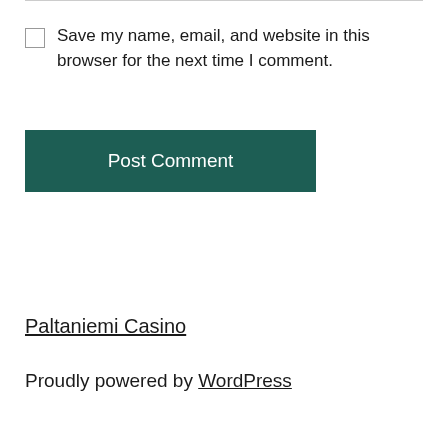Save my name, email, and website in this browser for the next time I comment.
Post Comment
Paltaniemi Casino
Proudly powered by WordPress